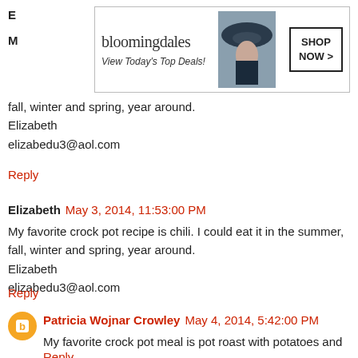[Figure (other): Bloomingdale's advertisement banner with logo, woman in hat, and 'SHOP NOW >' button. Text: 'bloomingdales View Today's Top Deals! SHOP NOW >']
My favorite crock pot recipe is chili. I could eat it in the summer, fall, winter and spring, year around.
Elizabeth
elizabedu3@aol.com
Reply
Elizabeth  May 3, 2014, 11:53:00 PM
My favorite crock pot recipe is chili. I could eat it in the summer, fall, winter and spring, year around.
Elizabeth
elizabedu3@aol.com
Reply
Patricia Wojnar Crowley  May 4, 2014, 5:42:00 PM
My favorite crock pot meal is pot roast with potatoes and carrots.
Reply